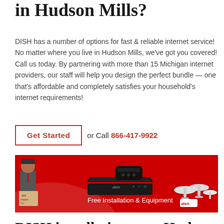in Hudson Mills?
DISH has a number of options for fast & reliable internet service! No matter where you live in Hudson Mills, we've got you covered! Call us today. By partnering with more than 15 Michigan internet providers, our staff will help you design the perfect bundle — one that's affordable and completely satisfies your household's internet requirements!
Get Started  or Call 866-417-9922
[Figure (photo): DISH promotional banner showing a technician holding boxes, a DISH receiver and remote, text 'Free Installation & Equipment', and satellite dishes on a red background.]
DISH installation near Hudson Mills!